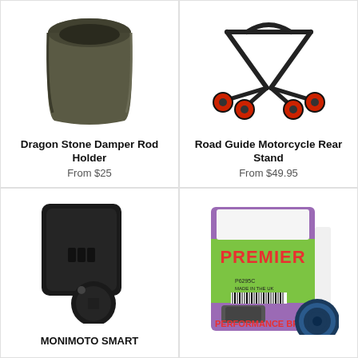[Figure (photo): Dragon Stone Damper Rod Holder - dark olive/grey cylindrical cup-shaped holder]
Dragon Stone Damper Rod Holder
From $25
[Figure (photo): Road Guide Motorcycle Rear Stand - black metal stand with red wheels]
Road Guide Motorcycle Rear Stand
From $49.95
[Figure (photo): Monimoto Smart - black rectangular GPS tracker device with round key fob]
MONIMOTO SMART
[Figure (photo): Premier Performance Brake Pads - P6295C, packaged in purple/green Premier branded packaging with barcode]